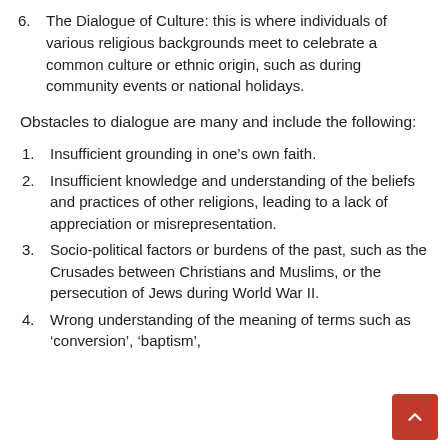6. The Dialogue of Culture: this is where individuals of various religious backgrounds meet to celebrate a common culture or ethnic origin, such as during community events or national holidays.
Obstacles to dialogue are many and include the following:
1. Insufficient grounding in one’s own faith.
2. Insufficient knowledge and understanding of the beliefs and practices of other religions, leading to a lack of appreciation or misrepresentation.
3. Socio-political factors or burdens of the past, such as the Crusades between Christians and Muslims, or the persecution of Jews during World War II.
4. Wrong understanding of the meaning of terms such as ‘conversion’, ‘baptism’,